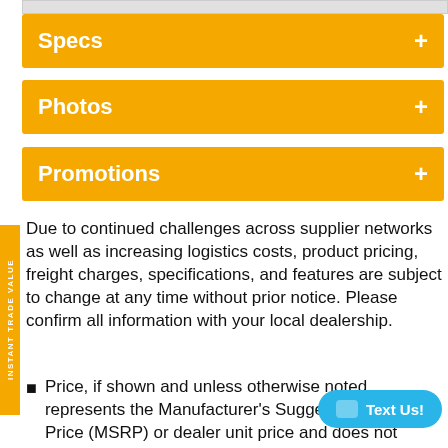Specs +
Photos +
Promotions +
Due to continued challenges across supplier networks as well as increasing logistics costs, product pricing, freight charges, specifications, and features are subject to change at any time without prior notice. Please confirm all information with your local dealership.
Price, if shown and unless otherwise noted, represents the Manufacturer's Suggested Retail Price (MSRP) or dealer unit price and does not include government fees, taxes, dealer vehicle freight/preparation, dealer document preparation